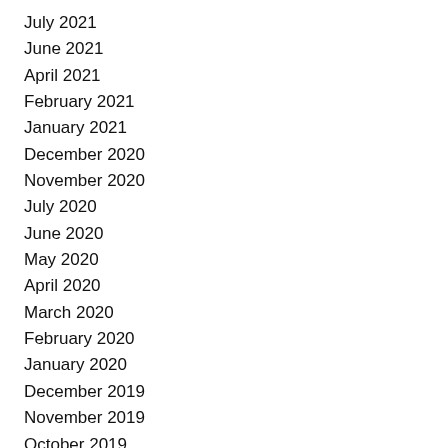July 2021
June 2021
April 2021
February 2021
January 2021
December 2020
November 2020
July 2020
June 2020
May 2020
April 2020
March 2020
February 2020
January 2020
December 2019
November 2019
October 2019
September 2019